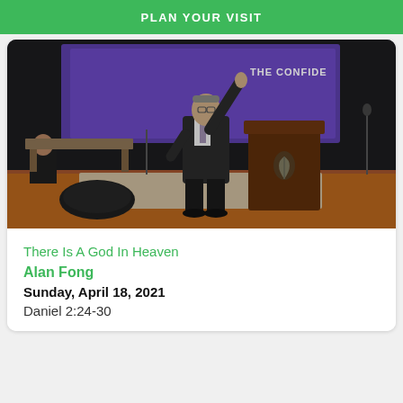PLAN YOUR VISIT
[Figure (photo): A preacher in a dark suit pointing upward with one finger while standing at a wooden podium with a leaf logo, in a church sanctuary with a purple illuminated screen showing 'THE CONFIDE...' in the background.]
There Is A God In Heaven
Alan Fong
Sunday, April 18, 2021
Daniel 2:24-30